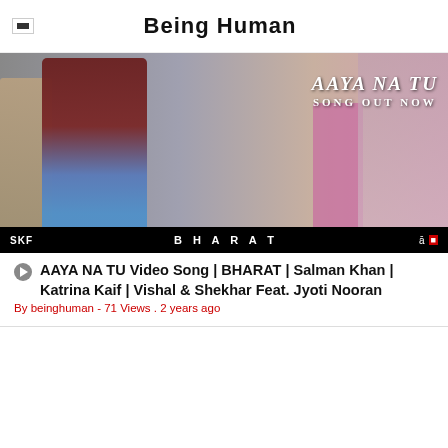Being Human
[Figure (screenshot): Thumbnail image for AAYA NA TU video song from Bharat movie featuring Salman Khan, with text 'AAYA NA TU SONG OUT NOW' and 'BHARAT' in the bottom bar]
AAYA NA TU Video Song | BHARAT | Salman Khan | Katrina Kaif | Vishal & Shekhar Feat. Jyoti Nooran
By beinghuman - 71 Views . 2 years ago